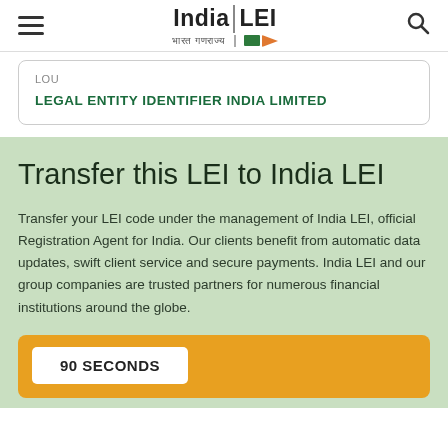India LEI — भारत गणराज्य
LOU
LEGAL ENTITY IDENTIFIER INDIA LIMITED
Transfer this LEI to India LEI
Transfer your LEI code under the management of India LEI, official Registration Agent for India. Our clients benefit from automatic data updates, swift client service and secure payments. India LEI and our group companies are trusted partners for numerous financial institutions around the globe.
90 SECONDS